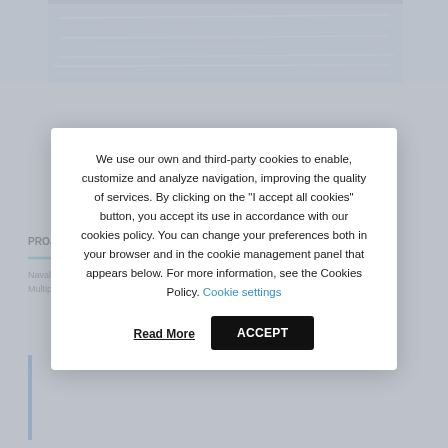[Figure (photo): Water/ocean surface photo at top of page, blurred behind modal]
PROJECT : NEWSTAR (Fishing Vessel)
Naval ... of a Multipurpose Vessel: A Fishing Vessel
We use our own and third-party cookies to enable, customize and analyze navigation, improving the quality of services. By clicking on the "I accept all cookies" button, you accept its use in accordance with our cookies policy. You can change your preferences both in your browser and in the cookie management panel that appears below. For more information, see the Cookies Policy. Cookie settings
Read More
ACCEPT